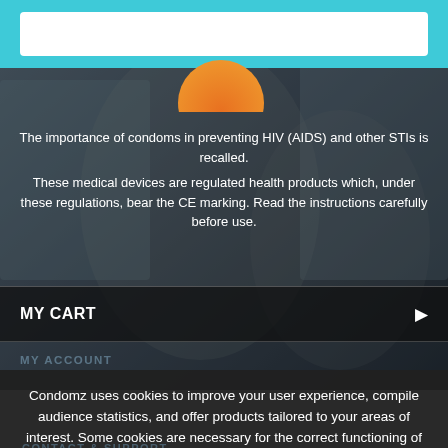[Figure (screenshot): Website screenshot showing a product page for Condomz with a cyan/teal header bar containing a white search/input field, a partially visible orange circular logo, and a background photo of people. Text overlay reads about condoms preventing HIV/AIDS and STIs.]
The importance of condoms in preventing HIV (AIDS) and other STIs is recalled. These medical devices are regulated health products which, under these regulations, bear the CE marking. Read the instructions carefully before use.
MY CART
MY ACCOUNT
Condomz uses cookies to improve your user experience, compile audience statistics, and offer products tailored to your areas of interest. Some cookies are necessary for the correct functioning of the site. You can accept, refuse or continue browsing without accepting. Consult our Personal Data Protection Policy.
ACCEPT
NEED HELP?
SHIPPING AND RETURNS
REFUSE